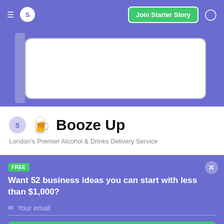S  Join Starter Story
[Figure (screenshot): White card with rounded corners partially visible, on purple background]
5 🍺 Booze Up
London's Premier Alcohol & Drinks Delivery Service
FREE
Want 52 business ideas you can start with less than $1,000?
Your email
Send Now